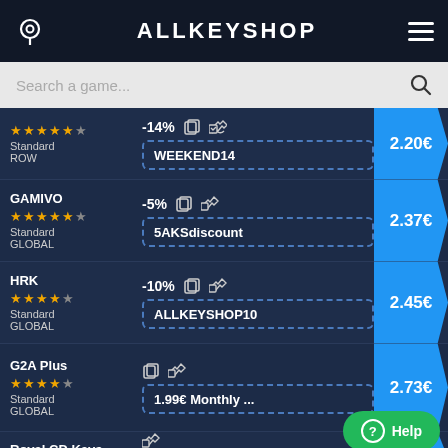ALLKEYSHOP
Search a game...
| Store | Discount/Coupon | Price |
| --- | --- | --- |
| ★★★★★½ Standard ROW | -14% WEEKEND14 | 2.20€ |
| GAMIVO ★★★★★½ Standard GLOBAL | -5% 5AKSdiscount | 2.37€ |
| HRK ★★★★☆ Standard GLOBAL | -10% ALLKEYSHOP10 | 2.45€ |
| G2A Plus ★★★★☆ Standard GLOBAL | 1.99€ Monthly ... | 2.73€ |
| Royal CD Keys ★★★★½ Standard |  | 2.76€ |